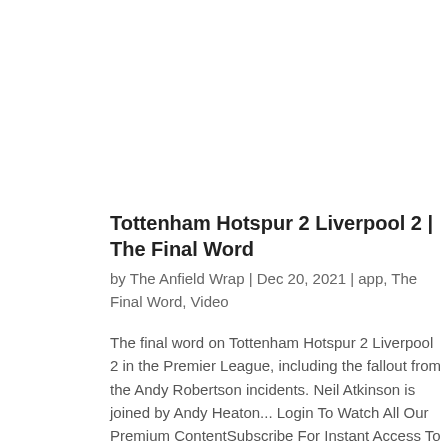Tottenham Hotspur 2 Liverpool 2 | The Final Word
by The Anfield Wrap | Dec 20, 2021 | app, The Final Word, Video
The final word on Tottenham Hotspur 2 Liverpool 2 in the Premier League, including the fallout from the Andy Robertson incidents. Neil Atkinson is joined by Andy Heaton... Login To Watch All Our Premium ContentSubscribe For Instant Access To TAW Video  ...